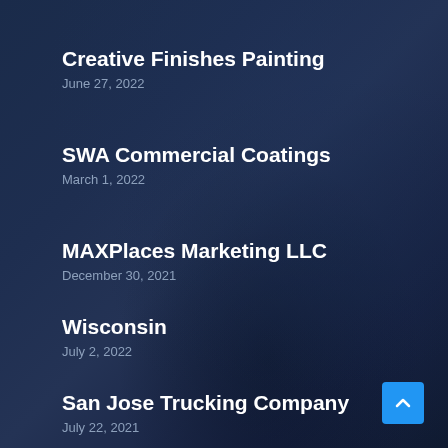Creative Finishes Painting
June 27, 2022
SWA Commercial Coatings
March 1, 2022
MAXPlaces Marketing LLC
December 30, 2021
Wisconsin
July 2, 2022
San Jose Trucking Company
July 22, 2021